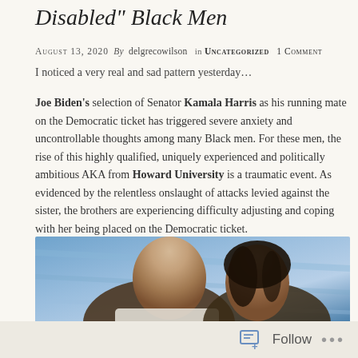Disabled" Black Men
August 13, 2020  By  delgrecowilson  in Uncategorized  1 Comment
I noticed a very real and sad pattern yesterday…
Joe Biden's selection of Senator Kamala Harris as his running mate on the Democratic ticket has triggered severe anxiety and uncontrollable thoughts among many Black men. For these men, the rise of this highly qualified, uniquely experienced and politically ambitious AKA from Howard University is a traumatic event. As evidenced by the relentless onslaught of attacks levied against the sister, the brothers are experiencing difficulty adjusting and coping with her being placed on the Democratic ticket.
[Figure (photo): Photo of Joe Biden and Kamala Harris facing each other, with a blue background.]
Follow  ...